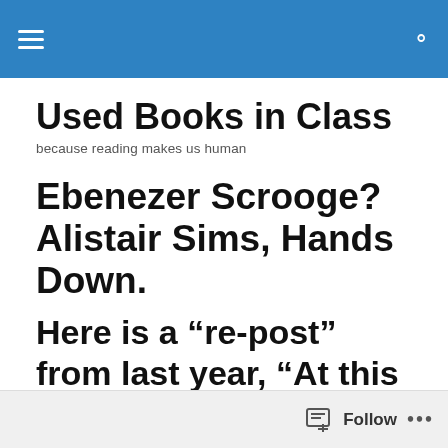Used Books in Class
Used Books in Class
because reading makes us human
Ebenezer Scrooge? Alistair Sims, Hands Down.
Here is a “re-post” from last year, “At this festive time of the year…”
Follow …